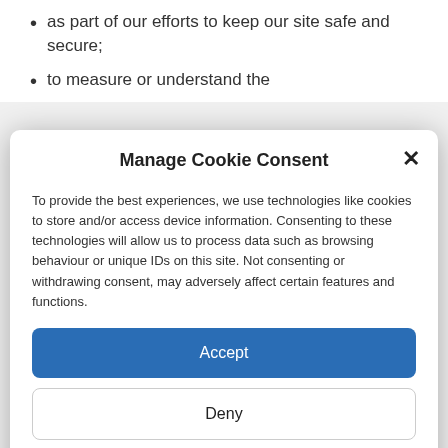as part of our efforts to keep our site safe and secure;
to measure or understand the
Manage Cookie Consent
To provide the best experiences, we use technologies like cookies to store and/or access device information. Consenting to these technologies will allow us to process data such as browsing behaviour or unique IDs on this site. Not consenting or withdrawing consent, may adversely affect certain features and functions.
Accept
Deny
View preferences
Cookie Policy  PRIVACY POLICY